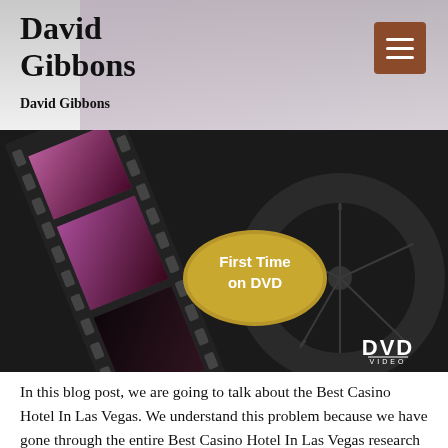David Gibbons
David Gibbons
[Figure (photo): A DVD promotional image showing a film strip with photos of musicians in purple/magenta outfits performing, overlaid on a dark DVD reel background. A gold oval badge reads 'First Time on DVD' and a DVD logo appears in the lower right.]
In this blog post, we are going to talk about the Best Casino Hotel In Las Vegas. We understand this problem because we have gone through the entire Best Casino Hotel In Las Vegas research